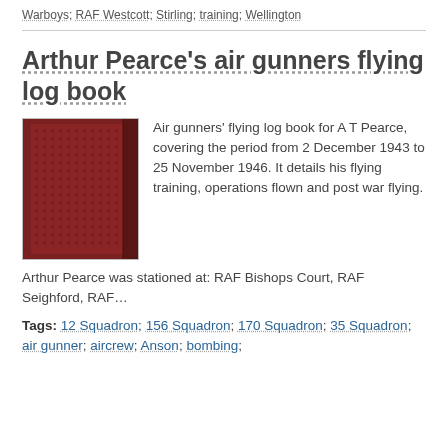Warboys; RAF Westcott; Stirling; training; Wellington
Arthur Pearce's air gunners flying log book
[Figure (photo): Thumbnail image of a dark red/maroon log book cover with a dotted pattern texture]
Air gunners' flying log book for A T Pearce, covering the period from 2 December 1943 to 25 November 1946. It details his flying training, operations flown and post war flying.
Arthur Pearce was stationed at: RAF Bishops Court, RAF Seighford, RAF…
Tags: 12 Squadron; 156 Squadron; 170 Squadron; 35 Squadron; air gunner; aircrew; Anson; bombing;